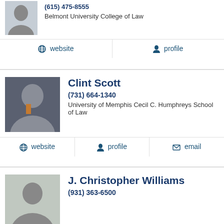(615) 475-8555
Belmont University College of Law
website | profile
Clint Scott
(731) 664-1340
University of Memphis Cecil C. Humphreys School of Law
website | profile | email
J. Christopher Williams
(931) 363-6500
website | profile | email